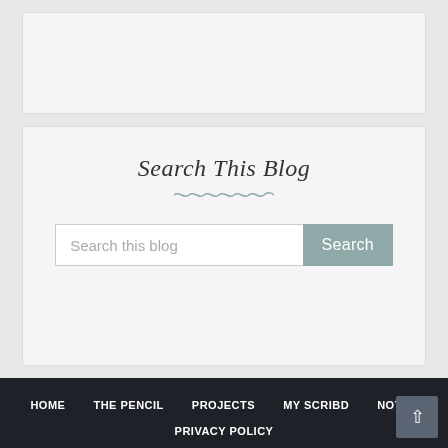[Figure (other): Empty white/light card area at top of page]
Search This Blog
Search this blog [input field] Search [button]
HOME | THE PENCIL | PROJECTS | MY SCRIBD | NOTES | PRIVACY POLICY
Designed with ♥ by Way2Themes | Distributed By Hire Blogger Designer